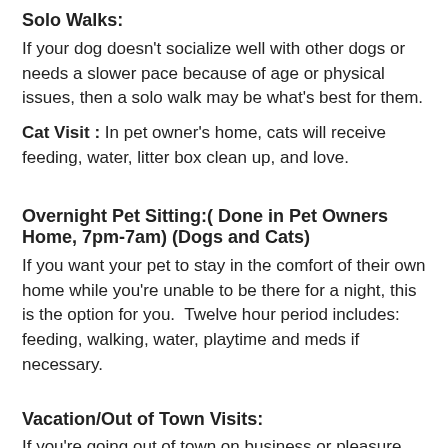Solo Walks:
If your dog doesn't socialize well with other dogs or needs a slower pace because of age or physical issues, then a solo walk may be what's best for them.
Cat Visit : In pet owner's home, cats will receive feeding, water, litter box clean up, and love.
Overnight Pet Sitting:( Done in Pet Owners Home, 7pm-7am) (Dogs and Cats)
If you want your pet to stay in the comfort of their own home while you're unable to be there for a night, this is the option for you.  Twelve hour period includes: feeding, walking, water, playtime and meds if necessary.
Vacation/Out of Town Visits:
If you're going out of town on business or pleasure and